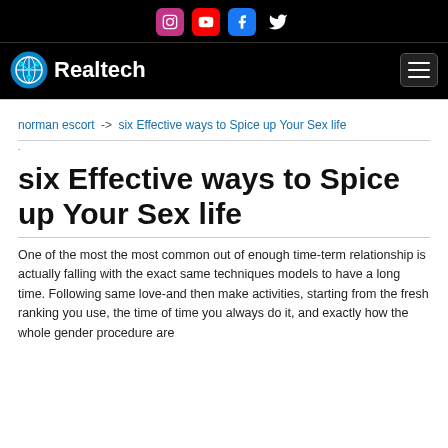[Figure (other): Website header with social media icons (Instagram, YouTube, Facebook, Twitter) on black background, Realtech logo with globe/circuit icon on left, hamburger menu button on right]
norman escort -> six Effective ways to Spice up Your Sex life
six Effective ways to Spice up Your Sex life
One of the most the most common out of enough time-term relationship is actually falling with the exact same techniques models to have a long time. Following same love-and then make activities, starting from the fresh ranking you use, the time of time you always do it, and exactly how the whole gender procedure are